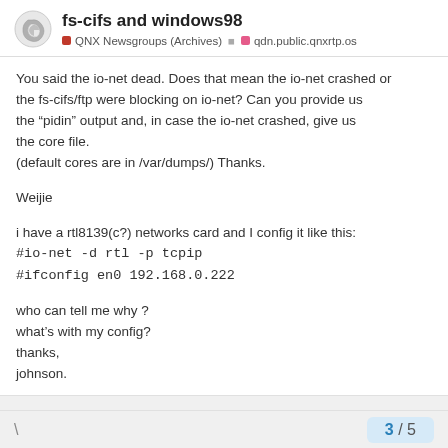fs-cifs and windows98 | QNX Newsgroups (Archives) | qdn.public.qnxrtp.os
You said the io-net dead. Does that mean the io-net crashed or
the fs-cifs/ftp were blocking on io-net? Can you provide us the “pidin” output and, in case the io-net crashed, give us the core file.
(default cores are in /var/dumps/) Thanks.

Weijie

i have a rtl8139(c?) networks card and I config it like this:
#io-net -d rtl -p tcpip
#ifconfig en0 192.168.0.222

who can tell me why ?
what’s with my config?
thanks,
johnson.
\ 3 / 5